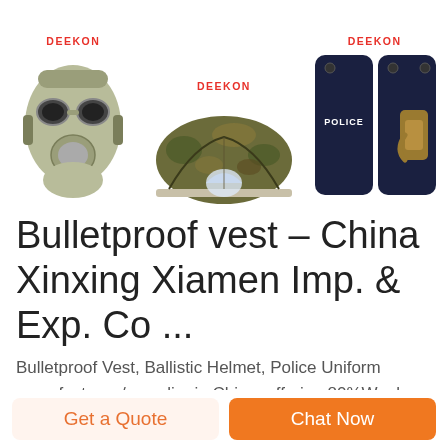[Figure (illustration): Three product images side by side: a green gas mask, a camouflage tent, and two dark blue police ballistic shields. Each has a red 'DEEKON' brand label above it.]
Bulletproof vest – China Xinxing Xiamen Imp. & Exp. Co ...
Bulletproof Vest, Ballistic Helmet, Police Uniform manufacturer / supplier in China, offering 80%Wool Custom Warm Wool Retardent Blanket Us Military Wool Blanket, Sand Military Security Tactical Combat Army
Get a Quote
Chat Now